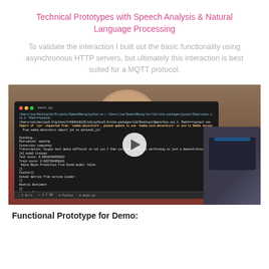Technical Prototypes with Speech Analysis & Natural Language Processing
To validate the interaction I built out the basic functionality using asynchronous HTTP servers, but ultimately this interaction is best suited for a MQTT protocol.
[Figure (screenshot): Video thumbnail showing a terminal window with Python output text over a blurred background of a person in a red shirt and a laptop. A white play button circle is centered on the video.]
Functional Prototype for Demo: